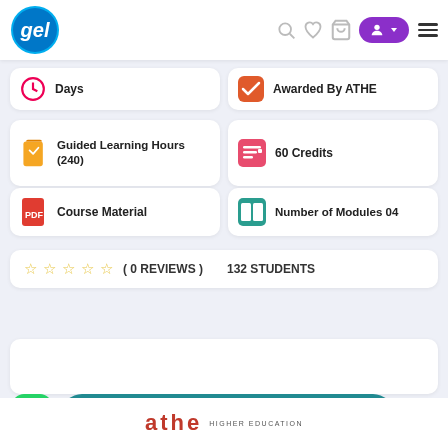[Figure (logo): GEL e-learning logo - blue circle with 'gel' text and registration mark]
Days
Awarded By ATHE
Guided Learning Hours (240)
60 Credits
Course Material
Number of Modules 04
( 0 REVIEWS )   132 STUDENTS
[Figure (logo): ATHE HIGHER EDUCATION logo at bottom]
Buy Now – £0.00